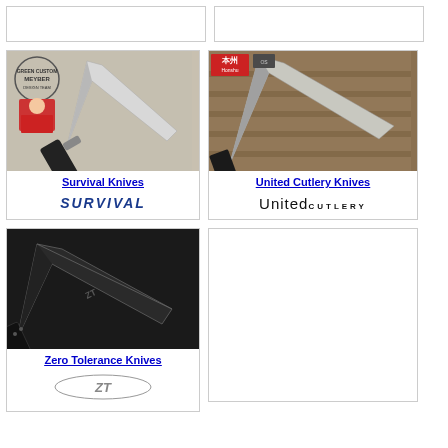[Figure (other): Partial top card 1 - cropped product card at top of page]
[Figure (other): Partial top card 2 - cropped product card at top of page]
[Figure (photo): Survival Knives product card - showing a large bowie/survival knife with black handle, with a logo stamp and designer photo in upper left corner]
Survival Knives
[Figure (logo): SURVIVAL brand logo in bold blue italic text]
[Figure (photo): United Cutlery Knives product card - showing a large blade knife against a tactical/military background with Honshu logo]
United Cutlery Knives
[Figure (logo): United Cutlery logo text]
[Figure (photo): Zero Tolerance Knives product card - showing a large black tactical fixed blade knife]
Zero Tolerance Knives
[Figure (logo): ZT Zero Tolerance logo]